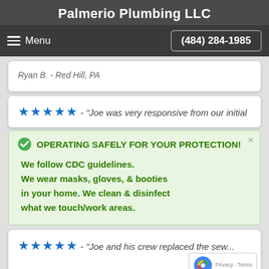Palmerio Plumbing LLC
Menu  (484) 284-1985
Ryan B. - Red Hill, PA
★★★★★ - "Joe was very responsive from our initial
OPERATING SAFELY FOR YOUR PROTECTION!
We follow CDC guidelines.
We wear masks, gloves, & booties in your home. We clean & disinfect what we touch/work areas.
★★★★★ - "Joe and his crew replaced the sew...